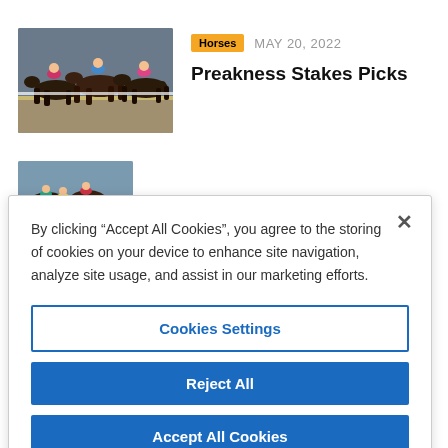[Figure (photo): Horse racing photo showing jockeys on horses racing closely together]
Horses   MAY 20, 2022
Preakness Stakes Picks
[Figure (photo): Partially visible horse racing photo strip at bottom of page background]
By clicking “Accept All Cookies”, you agree to the storing of cookies on your device to enhance site navigation, analyze site usage, and assist in our marketing efforts.
Cookies Settings
Reject All
Accept All Cookies